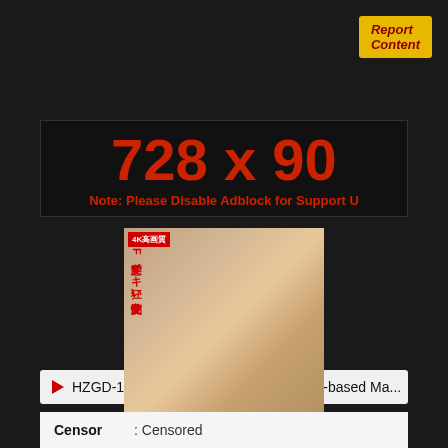Report Content
[Figure (infographic): Ad banner placeholder showing dimensions 728 x 90 with note: Please Disable Adblock for Support]
HZGD-111 Sober And Serious Literature-based Ma...
[Figure (photo): Video thumbnail image]
| Censor |  |
| --- | --- |
| : Censored |  |